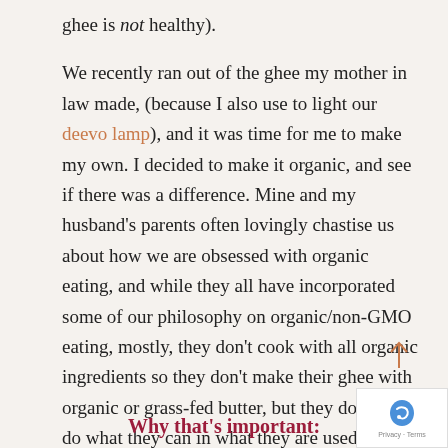ghee is not healthy).

We recently ran out of the ghee my mother in law made, (because I also use to light our deevo lamp), and it was time for me to make my own. I decided to make it organic, and see if there was a difference. Mine and my husband's parents often lovingly chastise us about how we are obsessed with organic eating, and while they all have incorporated some of our philosophy on organic/non-GMO eating, mostly, they don't cook with all organic ingredients so they don't make their ghee with organic or grass-fed butter, but they do try to do what they can in what they are used to.
Why that's important: